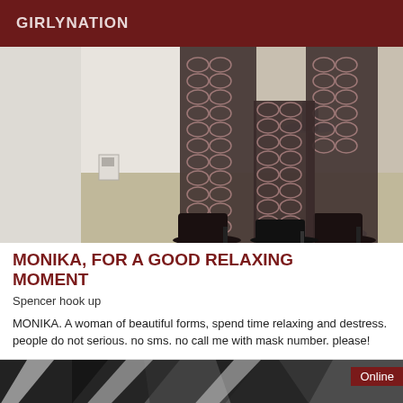GIRLYNATION
[Figure (photo): Close-up photo of woman's legs wearing black fishnet stockings and high heeled shoes, standing near a metal bar stool on a light floor against a white wall.]
MONIKA, FOR A GOOD RELAXING MOMENT
Spencer hook up
MONIKA. A woman of beautiful forms, spend time relaxing and destress. people do not serious. no sms. no call me with mask number. please!
[Figure (photo): Partial photo showing dark/black and white angled graphic elements, with an 'Online' badge in the top right corner.]